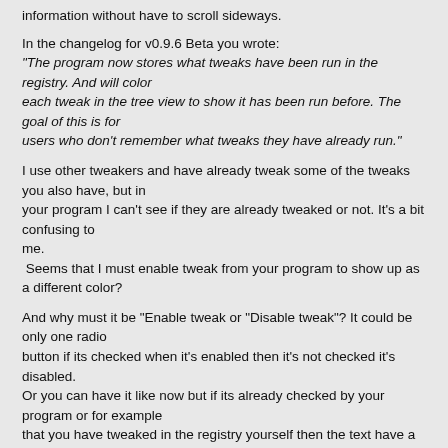information without have to scroll sideways.
In the changelog for v0.9.6 Beta you wrote:
"The program now stores what tweaks have been run in the registry. And will color
each tweak in the tree view to show it has been run before. The goal of this is for
users who don't remember what tweaks they have already run."
I use other tweakers and have already tweak some of the tweaks you also have, but in
your program I can't see if they are already tweaked or not. It's a bit confusing to
me.
 Seems that I must enable tweak from your program to show up as a different color?
And why must it be "Enable tweak or "Disable tweak"? It could be only one radio
button if its checked when it's enabled then it's not checked it's disabled.
Or you can have it like now but if its already checked by your program or for example
that you have tweaked in the registry yourself then the text have a black background
or something like that.
It's not easy to remember what other changes I have made in the